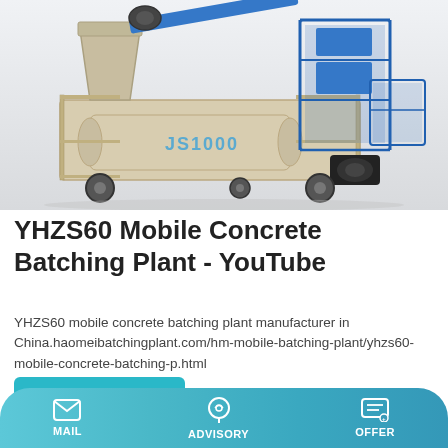[Figure (photo): YHZS60 Mobile Concrete Batching Plant machine (JS1000 mixer) with blue metal frame and cream/beige drum, on light grey background]
YHZS60 Mobile Concrete Batching Plant - YouTube
YHZS60 mobile concrete batching plant manufacturer in China.haomeibatchingplant.com/hm-mobile-batching-plant/yhzs60-mobile-concrete-batching-p.html
Learn More
MAIL   ADVISORY   OFFER